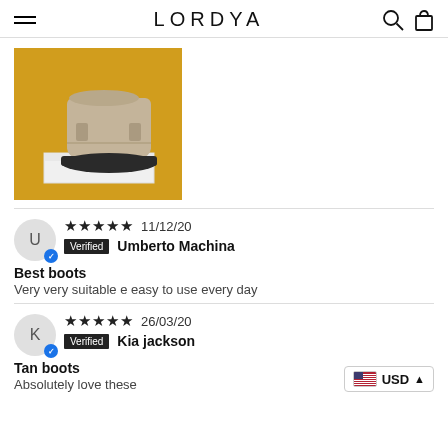LORDYA
[Figure (photo): Photo of tan/beige chelsea boots on a white box against a golden/yellow fabric background]
★★★★★ 11/12/20
Verified Umberto Machina
Best boots
Very very suitable e easy to use every day
★★★★★ 26/03/20
Verified Kia jackson
Tan boots
Absolutely love these